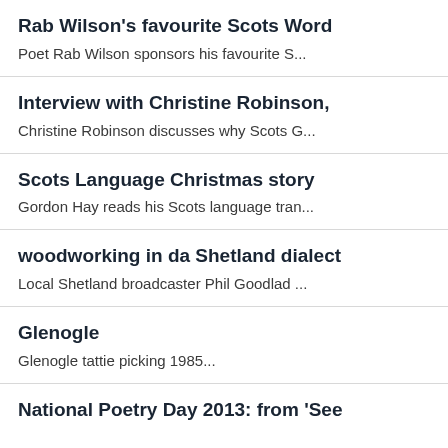Rab Wilson's favourite Scots Word
Poet Rab Wilson sponsors his favourite S...
Interview with Christine Robinson,
Christine Robinson discusses why Scots G...
Scots Language Christmas story
Gordon Hay reads his Scots language tran...
woodworking in da Shetland dialect
Local Shetland broadcaster Phil Goodlad ...
Glenogle
Glenogle tattie picking 1985...
National Poetry Day 2013: from 'See